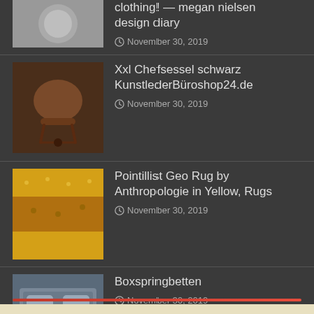clothing! — megan nielsen design diary
November 30, 2019
Xxl Chefsessel schwarz KunstlederBüroshop24.de
November 30, 2019
Pointillist Geo Rug by Anthropologie in Yellow, Rugs
November 30, 2019
Boxspringbetten
November 30, 2019
Buy Esfahan Persian Rug 2′ 5″ x 3′ 6″, Authentic Esfahan Handmade Rug
November 30, 2019